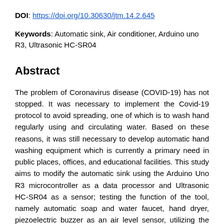DOI: https://doi.org/10.30630/jtm.14.2.645
Keywords: Automatic sink, Air conditioner, Arduino uno R3, Ultrasonic HC-SR04
Abstract
The problem of Coronavirus disease (COVID-19) has not stopped. It was necessary to implement the Covid-19 protocol to avoid spreading, one of which is to wash hand regularly using and circulating water. Based on these reasons, it was still necessary to develop automatic hand washing equipment which is currently a primary need in public places, offices, and educational facilities. This study aims to modify the automatic sink using the Arduino Uno R3 microcontroller as a data processor and Ultrasonic HC-SR04 as a sensor; testing the function of the tool, namely automatic soap and water faucet, hand dryer, piezoelectric buzzer as an air level sensor, utilizing the results of AC as a heating source.